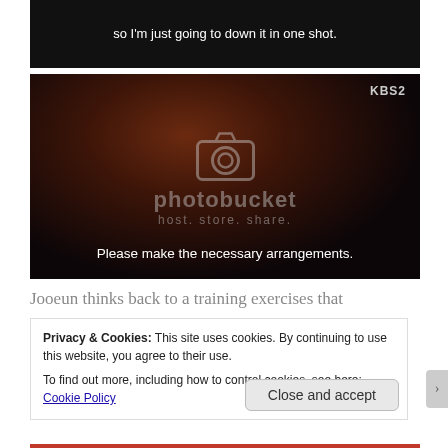[Figure (screenshot): Dark screenshot of a Korean TV show (KBS2) with subtitle text: 'so I'm just going to down it in one shot.']
[Figure (screenshot): Screenshot of a person in a brown hoodie talking on a phone at night, KBS2 watermark, Photobucket watermark overlay, subtitle: 'Please make the necessary arrangements.']
Jooeun thinks back to a training exercises that
Privacy & Cookies: This site uses cookies. By continuing to use this website, you agree to their use.
To find out more, including how to control cookies, see here: Cookie Policy
Close and accept